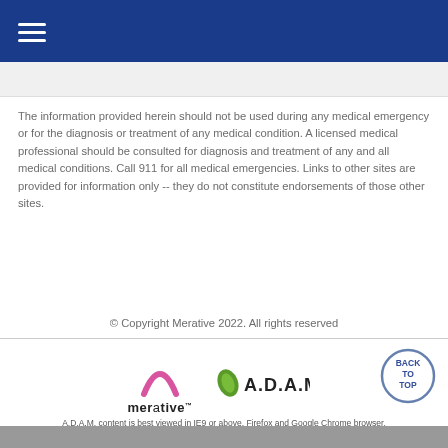The information provided herein should not be used during any medical emergency or for the diagnosis or treatment of any medical condition. A licensed medical professional should be consulted for diagnosis and treatment of any and all medical conditions. Call 911 for all medical emergencies. Links to other sites are provided for information only -- they do not constitute endorsements of those other sites.
© Copyright Merative 2022. All rights reserved
[Figure (logo): Merative logo with arc symbol above the word 'merative']
[Figure (logo): A.D.A.M. logo with leaf icon]
[Figure (other): Back to Top circular button with text BACK TO TOP]
A.D.A.M. content is best viewed in IE9 or above, Firefox and Google Chrome browser.